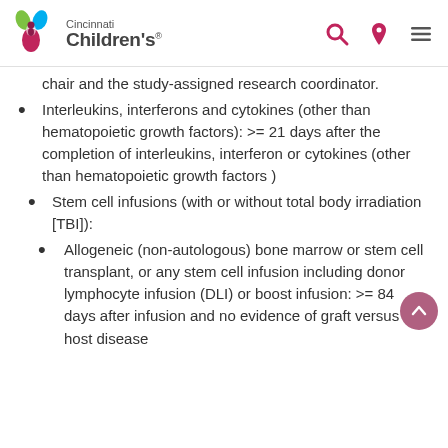Cincinnati Children's
chair and the study-assigned research coordinator.
Interleukins, interferons and cytokines (other than hematopoietic growth factors): >= 21 days after the completion of interleukins, interferon or cytokines (other than hematopoietic growth factors )
Stem cell infusions (with or without total body irradiation [TBI]):
Allogeneic (non-autologous) bone marrow or stem cell transplant, or any stem cell infusion including donor lymphocyte infusion (DLI) or boost infusion: >= 84 days after infusion and no evidence of graft versus host disease